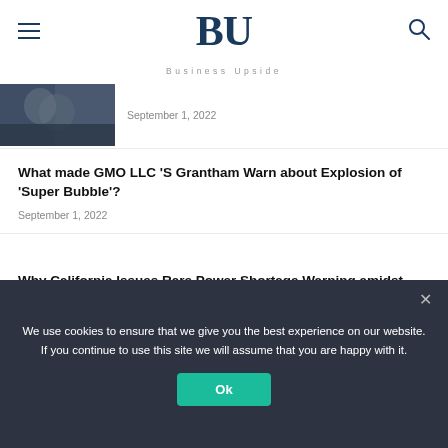BU — Business Upside
September 1, 2022
What made GMO LLC 'S Grantham Warn about Explosion of 'Super Bubble'?
September 1, 2022
Why California Issues Rare Power Shortage Warning amidst Heat Wave is Harder than You Think
September 1, 2022
We use cookies to ensure that we give you the best experience on our website. If you continue to use this site we will assume that you are happy with it.